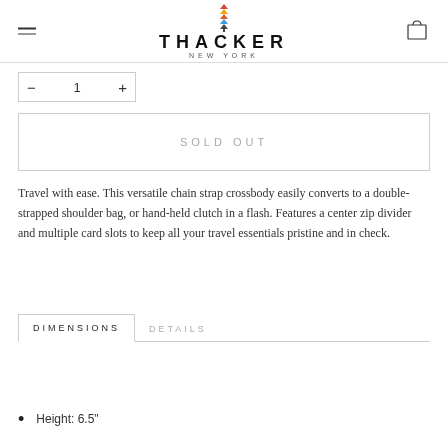[Figure (logo): Thacker New York logo with colorful stacked arrow icon above the brand name]
— 1 +
SOLD OUT
Travel with ease. This versatile chain strap crossbody easily converts to a double-strapped shoulder bag, or hand-held clutch in a flash. Features a center zip divider and multiple card slots to keep all your travel essentials pristine and in check.
DIMENSIONS  DETAILS
Height: 6.5"